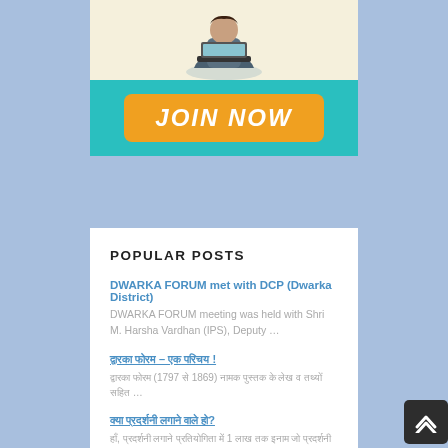[Figure (illustration): Banner with a person sitting cross-legged with a laptop on a cream background, and a teal section below with an orange 'JOIN NOW' button]
POPULAR POSTS
DWARKA FORUM met with DCP (Dwarka District)
DWARKA FORUM meeting was held with Shri M. Harsha Vardhan (IPS), Deputy …
द्वारका फोरम – एक परिचय !
द्वारका फोरम (1797 से 1869) नामक पुस्तक के लेख व तथ्यों सहित …
क्या प्रदर्शनी लगाने वाले हो?
हाँ, प्रदर्शनी लगाने प्रतियोगिता में 1 लाख तक इनाम जो प्रदर्शनी में …